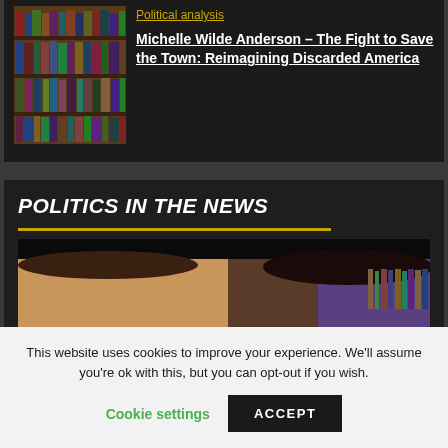Political analysis
Michelle Wilde Anderson – The Fight to Save the Town: Reimagining Discarded America
[Figure (photo): Bookshelf with many books]
POLITICS IN THE NEWS
[Figure (photo): Two people's faces partially visible in a video call or interview setting]
This website uses cookies to improve your experience. We'll assume you're ok with this, but you can opt-out if you wish.
Cookie settings
ACCEPT